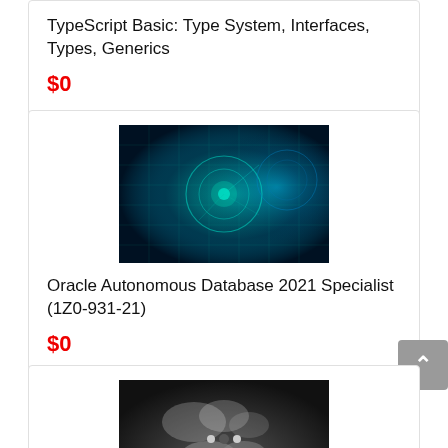TypeScript Basic: Type System, Interfaces, Types, Generics
$0
[Figure (photo): Dark teal/blue glowing circular tech circuit board visualization with geometric patterns]
Oracle Autonomous Database 2021 Specialist (1Z0-931-21)
$0
[Figure (photo): Black and white close-up photo of hands playing piano keys]